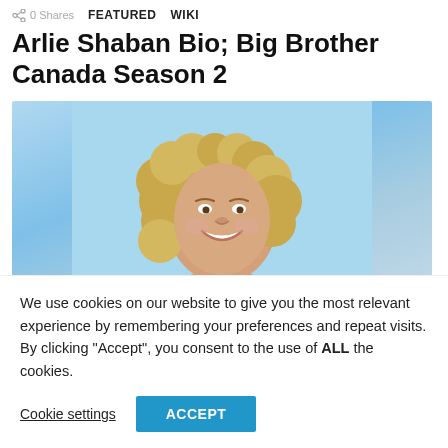0 Shares  FEATURED  WIKI
Arlie Shaban Bio; Big Brother Canada Season 2
[Figure (photo): Portrait photo of a smiling woman with curly blonde hair against a light blue background]
We use cookies on our website to give you the most relevant experience by remembering your preferences and repeat visits. By clicking “Accept”, you consent to the use of ALL the cookies.
Cookie settings   ACCEPT